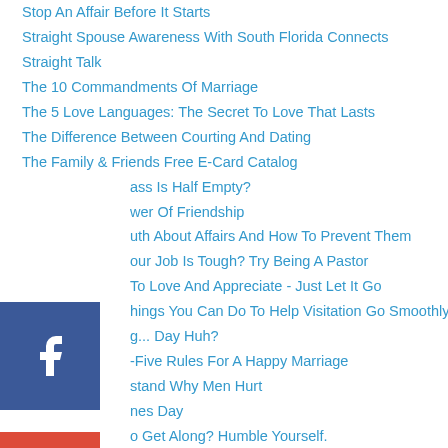Stop An Affair Before It Starts
Straight Spouse Awareness With South Florida Connects
Straight Talk
The 10 Commandments Of Marriage
The 5 Love Languages: The Secret To Love That Lasts
The Difference Between Courting And Dating
The Family & Friends Free E-Card Catalog
...ass Is Half Empty?
...wer Of Friendship
...uth About Affairs And How To Prevent Them
...our Job Is Tough? Try Being A Pastor
To Love And Appreciate - Just Let It Go
...hings You Can Do To Help Visitation Go Smoothly
...g... Day Huh?
...-Five Rules For A Happy Marriage
...stand Why Men Hurt
...nes Day
...o Get Along? Humble Yourself.
Watch Your Words
...Real Man Does
...re The Results Of Deliberate Effort To Foster Intimacy?
[Figure (infographic): Social media share buttons: Facebook (blue), Google+ (red), Twitter (blue), Pinterest (red), Blogger (orange), YouTube (red)]